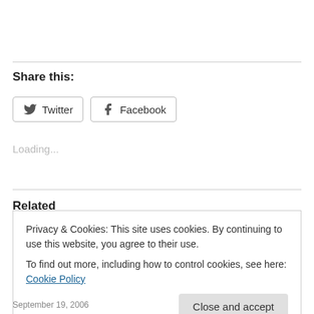Share this:
Twitter  Facebook
Loading...
Related
Privacy & Cookies: This site uses cookies. By continuing to use this website, you agree to their use.
To find out more, including how to control cookies, see here: Cookie Policy
Close and accept
September 19, 2006